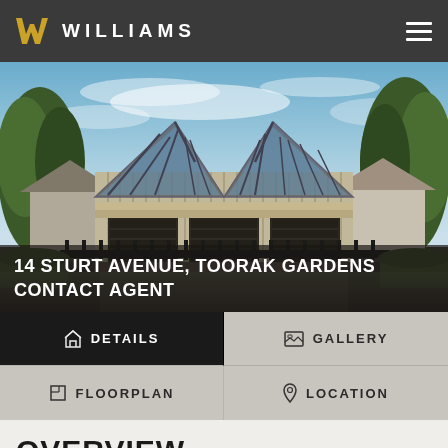WILLIAMS
[Figure (photo): Architectural render of a modern two-storey residential property at 14 Sturt Avenue, Toorak Gardens, featuring a barn-style roofline with steel frame, vertical timber cladding, black garage doors, and iron fence, surrounded by trees under a blue sky.]
14 STURT AVENUE, TOORAK GARDENS
CONTACT AGENT
DETAILS
GALLERY
FLOORPLAN
LOCATION
OVERVIEW